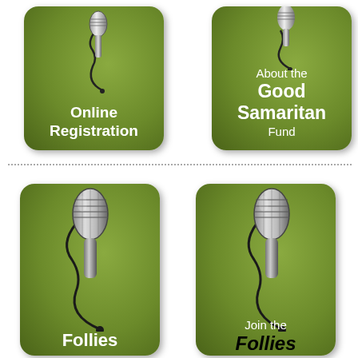[Figure (illustration): Green rounded rectangle button with microphone image at top and text 'Online Registration' in white bold text at bottom]
[Figure (illustration): Green rounded rectangle button with microphone image at top and text 'About the Good Samaritan Fund' in white text at bottom]
[Figure (illustration): Green rounded rectangle button with large microphone illustration and text 'Follies' in white bold text at bottom (partially cut off)]
[Figure (illustration): Green rounded rectangle button with large microphone illustration and text 'Join the Follies' where Follies is in large black bold italic text at bottom]